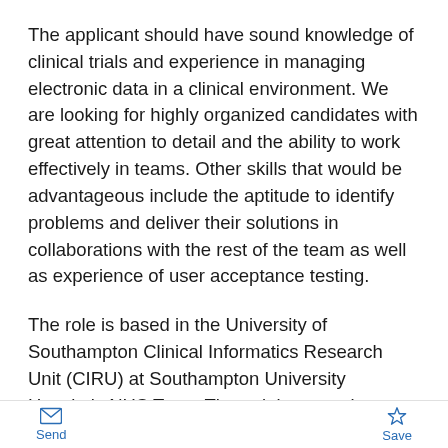The applicant should have sound knowledge of clinical trials and experience in managing electronic data in a clinical environment. We are looking for highly organized candidates with great attention to detail and the ability to work effectively in teams. Other skills that would be advantageous include the aptitude to identify problems and deliver their solutions in collaborations with the rest of the team as well as experience of user acceptance testing.
The role is based in the University of Southampton Clinical Informatics Research Unit (CIRU) at Southampton University Hospitals NHS Trust. The unit is a growing part of the medical school and part of the CRUK Clinical Centre. We have been working remotely for the past 2 years with meeting once a week in the office, and the expectation is
Send   Save